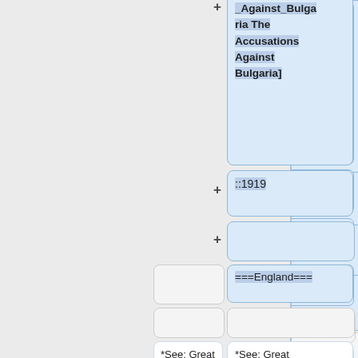[Figure (screenshot): Wikipedia diff/edit comparison view showing wiki markup changes. Left column shows old content, right column shows new content. Elements include boxes with wiki syntax like ':::Against_Bulgaria The Accusations Against Bulgaria]', '::1919', '===England===', '*See: Great Britain.', '<h3>France</h3>', '===France===', '*[[The Franco-Russian Alliance' with plus/minus change indicators.]